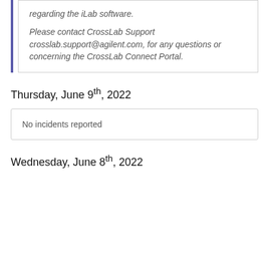regarding the iLab software.
Please contact CrossLab Support crosslab.support@agilent.com, for any questions or concerning the CrossLab Connect Portal.
Thursday, June 9th, 2022
No incidents reported
Wednesday, June 8th, 2022